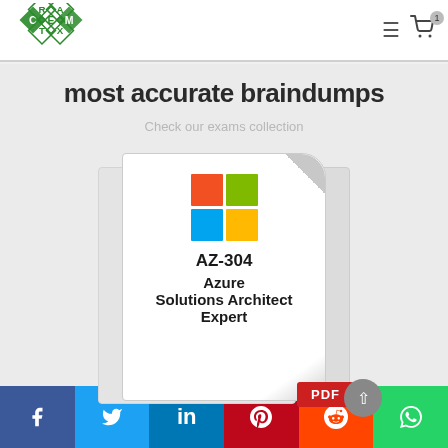CertExam logo, navigation menu, cart icon
most accurate braindumps
Check our exams collection
[Figure (illustration): Document card with Microsoft Windows logo grid (red, green, blue, yellow squares), text 'AZ-304 Azure Solutions Architect Expert', page curl corner, PDF badge, shadow pages on both sides]
Social share bar: Facebook, Twitter, LinkedIn, Pinterest, Reddit, WhatsApp